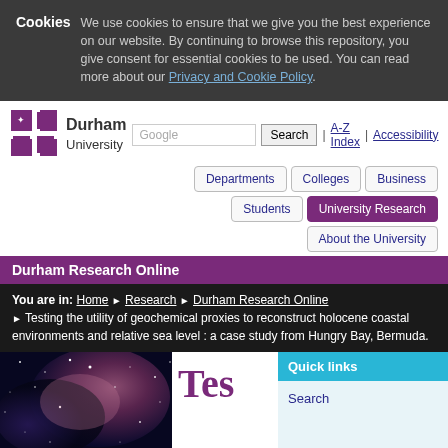Cookies  We use cookies to ensure that we give you the best experience on our website. By continuing to browse this repository, you give consent for essential cookies to be used. You can read more about our Privacy and Cookie Policy.
[Figure (logo): Durham University crest and wordmark logo]
Google Search | A-Z Index | Accessibility
Departments | Colleges | Business | Students | University Research | About the University
Durham Research Online
You are in: Home > Research > Durham Research Online > Testing the utility of geochemical proxies to reconstruct holocene coastal environments and relative sea level : a case study from Hungry Bay, Bermuda.
[Figure (photo): Nebula/space photograph with stars and colorful gas clouds]
Tes
Quick links
Search